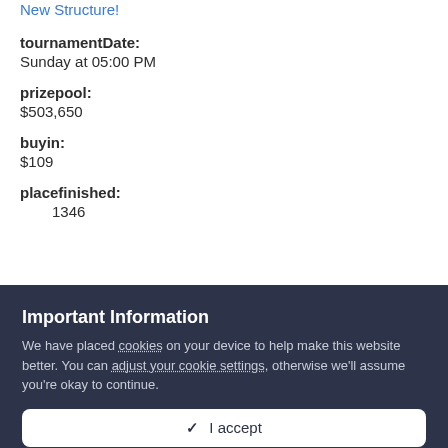New Structure!
tournamentDate:
Sunday at 05:00 PM
prizepool:
$503,650
buyin:
$109
placefinished:
1346
Important Information
We have placed cookies on your device to help make this website better. You can adjust your cookie settings, otherwise we'll assume you're okay to continue.
✓ I accept